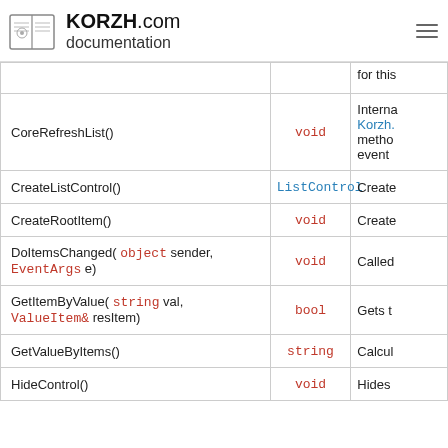KORZH.com documentation
| Method | Return Type | Description |
| --- | --- | --- |
|  |  | for this |
| CoreRefreshList() | void | Interna... Korzh.... metho... event... |
| CreateListControl() | ListControl | Create |
| CreateRootItem() | void | Create |
| DoItemsChanged( object sender, EventArgs e) | void | Called |
| GetItemByValue( string val, ValueItem& resItem) | bool | Gets t |
| GetValueByItems() | string | Calcul |
| HideControl() | void | Hides |